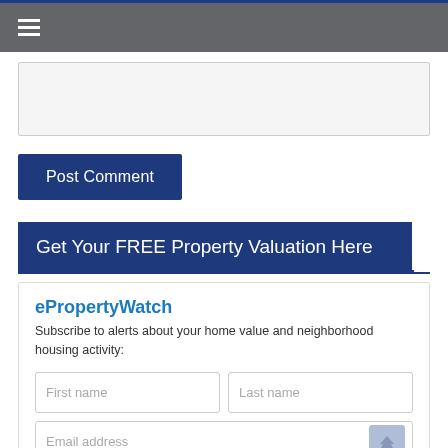[Figure (screenshot): Text area input box (empty, light gray background)]
Post Comment
Get Your FREE Property Valuation Here
ePropertyWatch
Subscribe to alerts about your home value and neighborhood housing activity:
[Figure (screenshot): Form with First name, Last name, and Email address input fields]